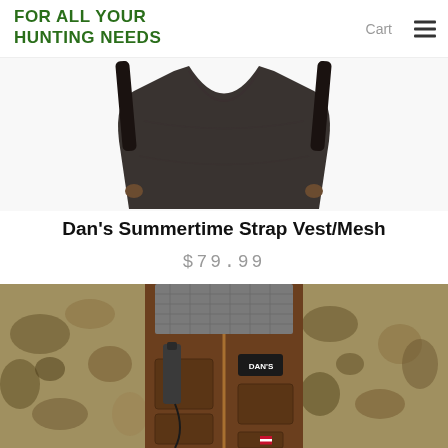FOR ALL YOUR HUNTING NEEDS
[Figure (photo): Top portion of Dan's Summertime Strap Vest/Mesh shown from above, black straps and body visible against white background]
Dan's Summertime Strap Vest/Mesh
$79.99
[Figure (photo): Person wearing Dan's Summertime Strap Vest/Mesh in brown color with DAN'S logo patch, multiple front pockets, radio/tool holder, over a camouflage long-sleeve shirt]